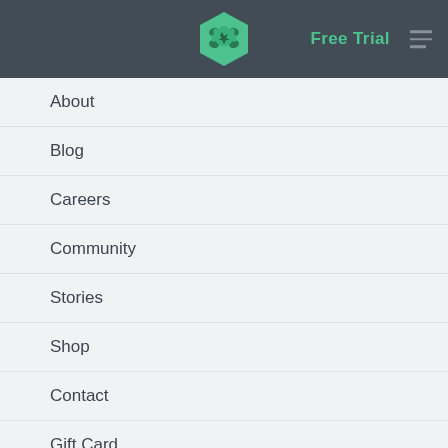Free Trial
About
Blog
Careers
Community
Stories
Shop
Contact
Gift Card
See Full Catalogue
Techdegree
Front End Web Development